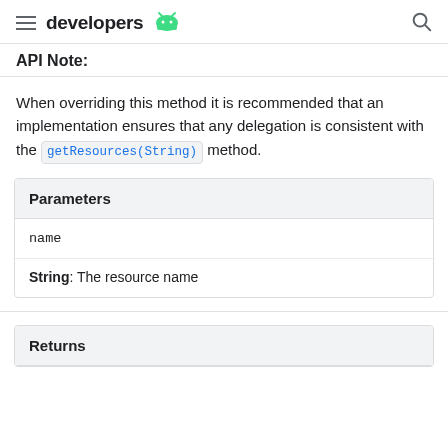developers
API Note:
When overriding this method it is recommended that an implementation ensures that any delegation is consistent with the getResources(String) method.
| Parameters |
| --- |
| name |
| String: The resource name |
| Returns |
| --- |